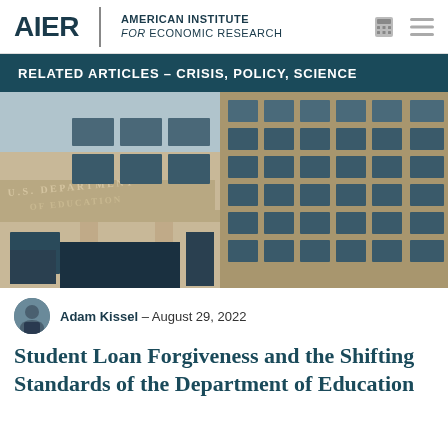AIER | AMERICAN INSTITUTE for ECONOMIC RESEARCH
RELATED ARTICLES – CRISIS, POLICY, SCIENCE
[Figure (photo): Exterior photo of the U.S. Department of Education building, showing the engraved inscription 'U.S. DEPARTMENT OF EDUCATION' on the facade, with a modernist multi-story building featuring vertical concrete columns and rows of windows.]
Adam Kissel – August 29, 2022
Student Loan Forgiveness and the Shifting Standards of the Department of Education